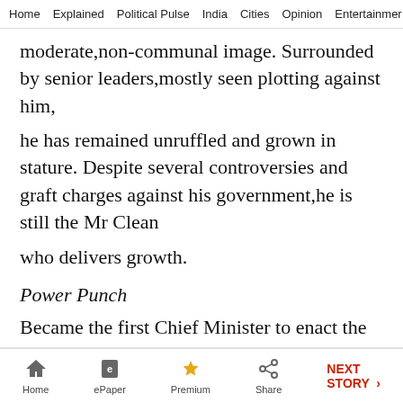Home  Explained  Political Pulse  India  Cities  Opinion  Entertainment
moderate,non-communal image. Surrounded by senior leaders,mostly seen plotting against him,

he has remained unruffled and grown in stature. Despite several controversies and graft charges against his government,he is still the Mr Clean

who delivers growth.
Power Punch
Became the first Chief Minister to enact the Food Security Act and secured a point over the UPA on this.
Home  ePaper  Premium  Share  NEXT STORY